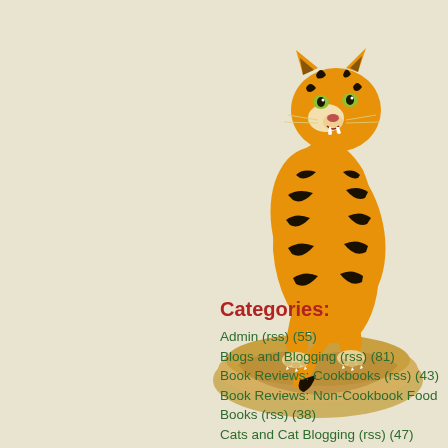[Figure (illustration): Illustration of a tiger perched on a rock, orange with black stripes, snarling, positioned in the upper-right of the page.]
Categories:
Admin (rss) (55)
Blogs and Blogging (rss) (81)
Book Reviews: Cookbooks (rss) (43)
Book Reviews: Non-Cookbook Food Books (rss) (38)
Cats and Cat Blogging (rss) (47)
Chinese Cooking Lessons (rss)